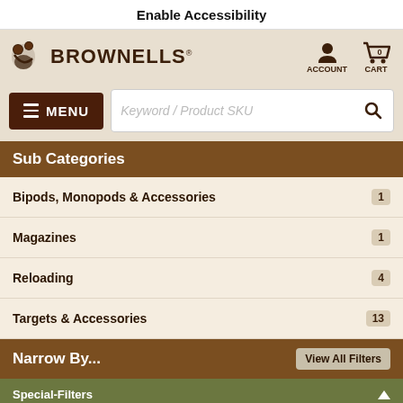Enable Accessibility
[Figure (logo): Brownells logo with animal icon and brand name]
Sub Categories
Bipods, Monopods & Accessories  1
Magazines  1
Reloading  4
Targets & Accessories  13
Narrow By...
Special-Filters